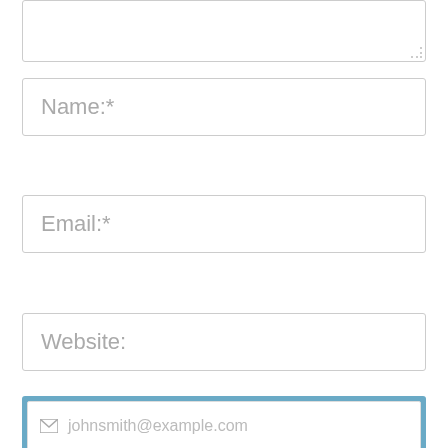[Figure (screenshot): Partial textarea form field at top of page, clipped]
Name:*
Email:*
Website:
Save my name, email, and website in this browser for the next
[Figure (screenshot): Overlay form widget with email input showing johnsmith@example.com placeholder, name input showing John Smith placeholder, and a Submit button]
Get Govt Job Alerts!!
Subscribe to our newsletter to get daily govt job notifications on your email